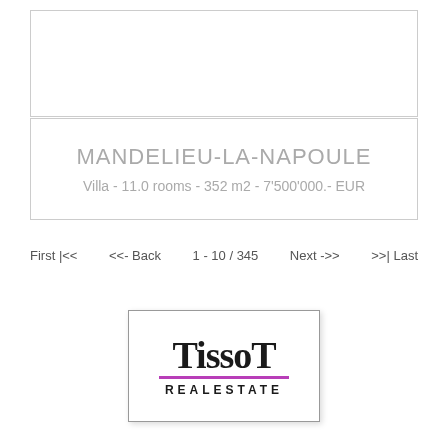[Figure (other): Empty white box with border, placeholder for property image]
MANDELIEU-LA-NAPOULE
Villa - 11.0 rooms - 352 m2 - 7'500'000.- EUR
First |<< <<- Back 1 - 10 / 345 Next ->> >>| Last
[Figure (logo): TissoT Real Estate logo with purple underline]